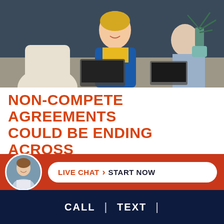[Figure (photo): Business people sitting at a table working on laptops; a smiling woman in a blue blazer and yellow top is in the center foreground.]
NON-COMPETE AGREEMENTS COULD BE ENDING ACROSS THE U.S
Earlier this year, President Joe Biden has requested for the Federal Trade Commission to ban non-compete agreements. The restrictive clause has affected thousands of Am...s ov...
[Figure (infographic): Live chat call-to-action bar with an avatar photo of a female agent, and a pill-shaped button reading 'LIVE CHAT > START NOW' on a red background.]
CALL | TEXT |